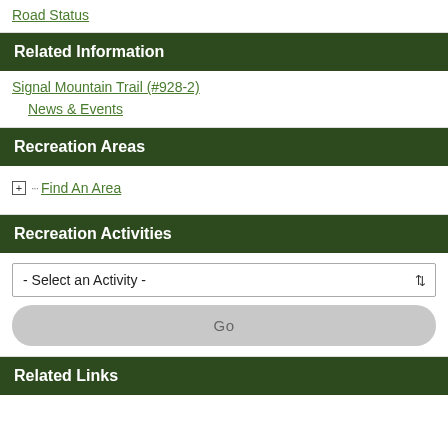Road Status
Related Information
Signal Mountain Trail (#928-2)
News & Events
Recreation Areas
Find An Area
Recreation Activities
- Select an Activity -
Go
Related Links